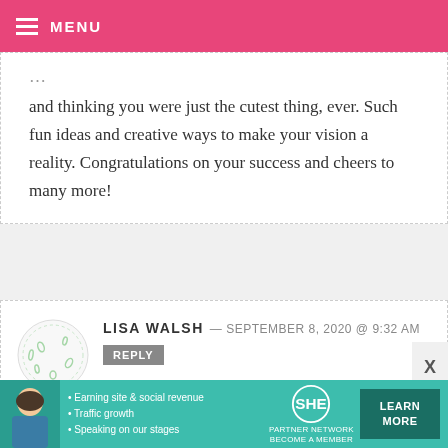MENU
and thinking you were just the cutest thing, ever. Such fun ideas and creative ways to make your vision a reality. Congratulations on your success and cheers to many more!
LISA WALSH — SEPTEMBER 8, 2020 @ 9:32 AM
REPLY
I love your Baby Yoda ones!  I haven't attempted to make them yet though,
[Figure (other): SHE Partner Network advertisement banner with woman photo, bullet points about earning site and social revenue, traffic growth, speaking on stages, SHE logo, and Learn More button]